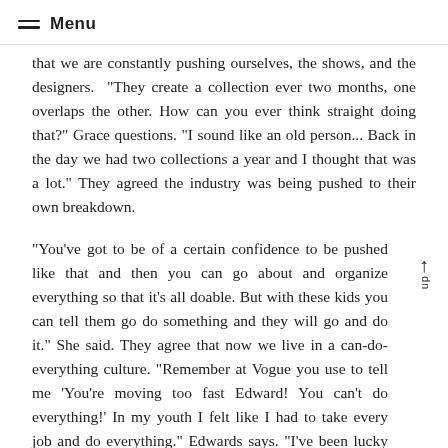Menu
that we are constantly pushing ourselves, the shows, and the designers.  "They create a collection ever two months, one overlaps the other. How can you ever think straight doing that?" Grace questions. "I sound like an old person... Back in the day we had two collections a year and I thought that was a lot." They agreed the industry was being pushed to their own breakdown.
"You've got to be of a certain confidence to be pushed like that and then you can go about and organize everything so that it's all doable. But with these kids you can tell them go do something and they will go and do it." She said. They agree that now we live in a can-do-everything culture. "Remember at Vogue you use to tell me 'You're moving too fast Edward! You can't do everything!' In my youth I felt like I had to take every job and do everything." Edwards says. "I've been lucky to pick and choose my assignments," Grace said realizing her path was very different.